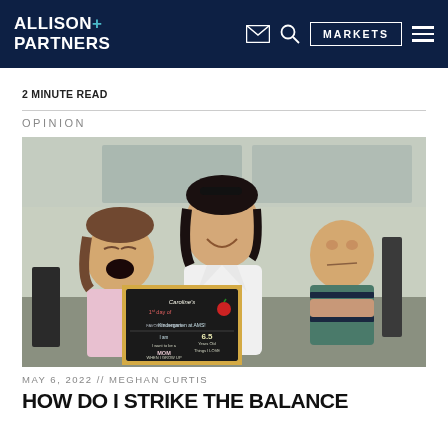ALLISON+ PARTNERS
2 MINUTE READ
OPINION
[Figure (photo): A smiling woman in a white jacket poses with two young children. The girl on the left is laughing and holding a chalkboard sign reading Caroline's 1st day of Kindergarten at AMS, age 6.5, wants to be a Mom. The boy on the right sits with arms crossed, looking serious. They appear to be on a porch.]
MAY 6, 2022 // MEGHAN CURTIS
HOW DO I STRIKE THE BALANCE